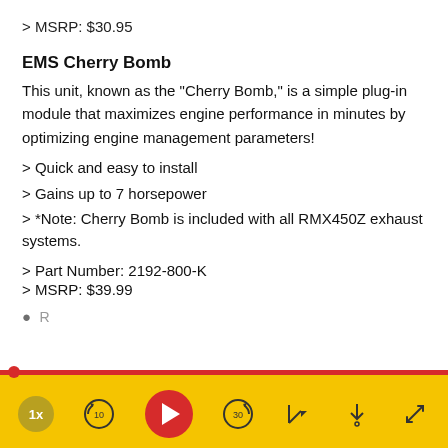> MSRP: $30.95
EMS Cherry Bomb
This unit, known as the "Cherry Bomb," is a simple plug-in module that maximizes engine performance in minutes by optimizing engine management parameters!
> Quick and easy to install
> Gains up to 7 horsepower
> *Note: Cherry Bomb is included with all RMX450Z exhaust systems.
> Part Number: 2192-800-K
> MSRP: $39.99